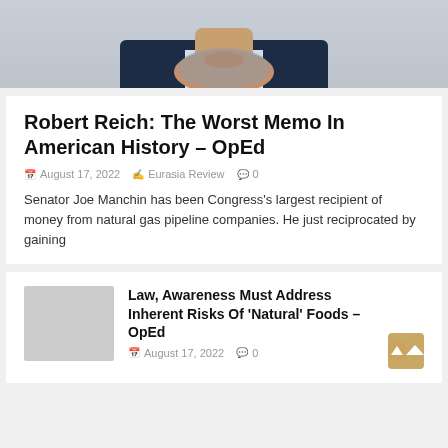[Figure (photo): Portrait photo of a middle-aged man with gray beard wearing a dark suit, cropped to show chin/lower face area]
Robert Reich: The Worst Memo In American History – OpEd
August 17, 2022   Eurasia Review   0
Senator Joe Manchin has been Congress's largest recipient of money from natural gas pipeline companies. He just reciprocated by gaining
Law, Awareness Must Address Inherent Risks Of 'Natural' Foods – OpEd
August 17, 2022   0